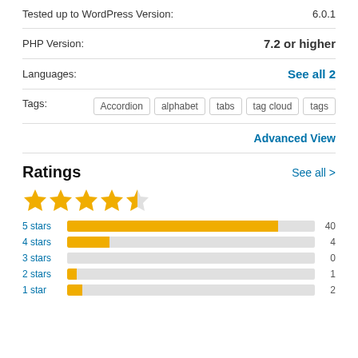Tested up to WordPress Version: 6.0.1
PHP Version: 7.2 or higher
Languages: See all 2
Tags: Accordion alphabet tabs tag cloud tags
Advanced View
Ratings
[Figure (bar-chart): Ratings breakdown]